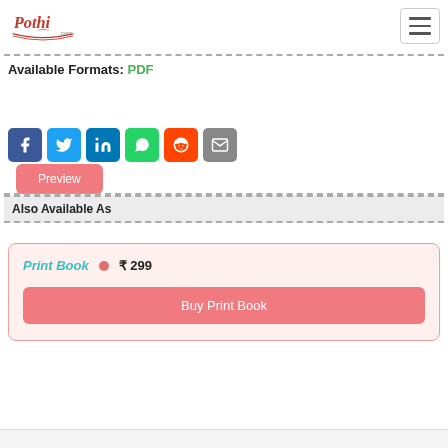Pothi.com logo and navigation
Available Formats: PDF
Preview
[Figure (other): Social sharing icons: Facebook, Twitter, LinkedIn, WhatsApp, Reddit, Email]
Also Available As
Print Book • ₹ 299
Buy Print Book